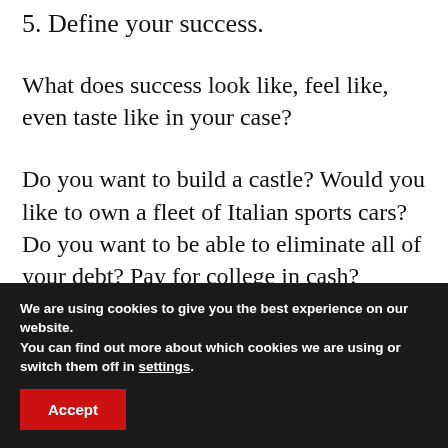5. Define your success.
What does success look like, feel like, even taste like in your case?
Do you want to build a castle? Would you like to own a fleet of Italian sports cars? Do you want to be able to eliminate all of your debt? Pay for college in cash?
What do you want?
We are using cookies to give you the best experience on our website.
You can find out more about which cookies we are using or switch them off in settings.
Accept